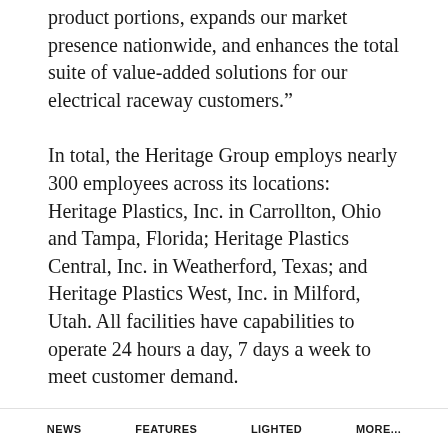product portions, expands our market presence nationwide, and enhances the total suite of value-added solutions for our electrical raceway customers.”
In total, the Heritage Group employs nearly 300 employees across its locations: Heritage Plastics, Inc. in Carrollton, Ohio and Tampa, Florida; Heritage Plastics Central, Inc. in Weatherford, Texas; and Heritage Plastics West, Inc. in Milford, Utah. All facilities have capabilities to operate 24 hours a day, 7 days a week to meet customer demand.
Charles McCort, founder and co-owner of
NEWS   FEATURES   LIGHTED   MORE...